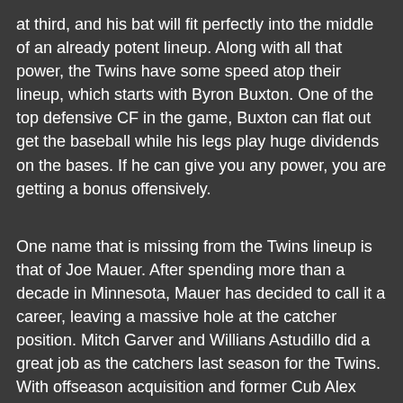at third, and his bat will fit perfectly into the middle of an already potent lineup. Along with all that power, the Twins have some speed atop their lineup, which starts with Byron Buxton. One of the top defensive CF in the game, Buxton can flat out get the baseball while his legs play huge dividends on the bases. If he can give you any power, you are getting a bonus offensively.
One name that is missing from the Twins lineup is that of Joe Mauer. After spending more than a decade in Minnesota, Mauer has decided to call it a career, leaving a massive hole at the catcher position. Mitch Garver and Willians Astudillo did a great job as the catchers last season for the Twins. With offseason acquisition and former Cub Alex Avila now on board, Minnesota has three great catching options to choose from, two of them being very versatile.